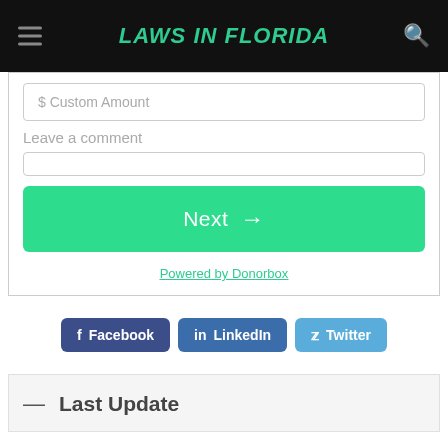LAWS IN FLORIDA
Custom Amount
Leave a comment
Next →
Powered by Donorbox
Facebook  LinkedIn  Twitter
— Last Update